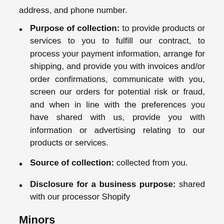address, and phone number.
Purpose of collection: to provide products or services to you to fulfill our contract, to process your payment information, arrange for shipping, and provide you with invoices and/or order confirmations, communicate with you, screen our orders for potential risk or fraud, and when in line with the preferences you have shared with us, provide you with information or advertising relating to our products or services.
Source of collection: collected from you.
Disclosure for a business purpose: shared with our processor Shopify
Minors
The Site is not intended for individuals under the age of 16. We do not intentionally collect Personal